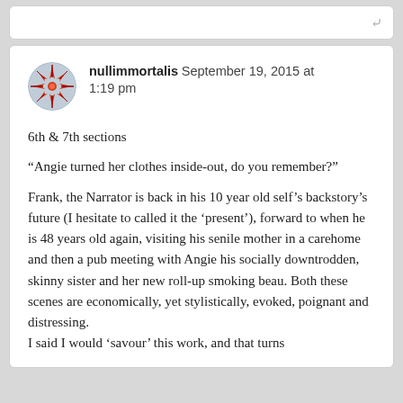nullimmortalis September 19, 2015 at 1:19 pm
6th & 7th sections
“Angie turned her clothes inside-out, do you remember?”
Frank, the Narrator is back in his 10 year old self’s backstory’s future (I hesitate to called it the ‘present’), forward to when he is 48 years old again, visiting his senile mother in a carehome and then a pub meeting with Angie his socially downtrodden, skinny sister and her new roll-up smoking beau. Both these scenes are economically, yet stylistically, evoked, poignant and distressing.
I said I would ‘savour’ this work, and that turns